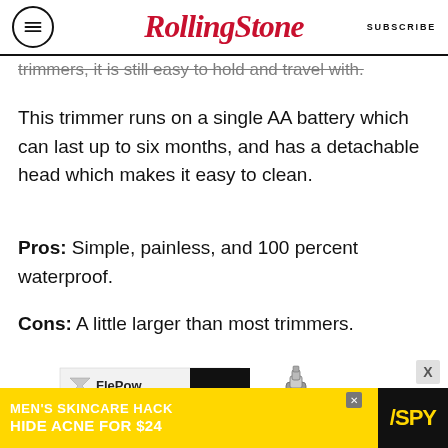Rolling Stone | SUBSCRIBE
trimmers, it is still easy to hold and travel with.
This trimmer runs on a single AA battery which can last up to six months, and has a detachable head which makes it easy to clean.
Pros: Simple, painless, and 100 percent waterproof.
Cons: A little larger than most trimmers.
[Figure (photo): FlePow nose trimmer product shot alongside its packaging box]
[Figure (infographic): Advertisement banner: MEN'S SKINCARE HACK HIDE ACNE FOR $24 with SPY logo]